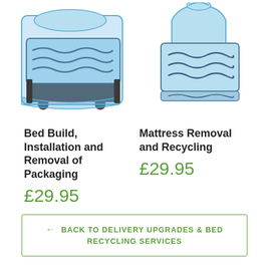[Figure (illustration): Illustration of a bed with blue plastic packaging wrap around it, shown as a mattress on a bed frame with wheels]
[Figure (illustration): Illustration of a mattress wrapped in a blue plastic bag, mattress only with wavy pattern lines]
Bed Build, Installation and Removal of Packaging
£29.95
Mattress Removal and Recycling
£29.95
← BACK TO DELIVERY UPGRADES & BED RECYCLING SERVICES